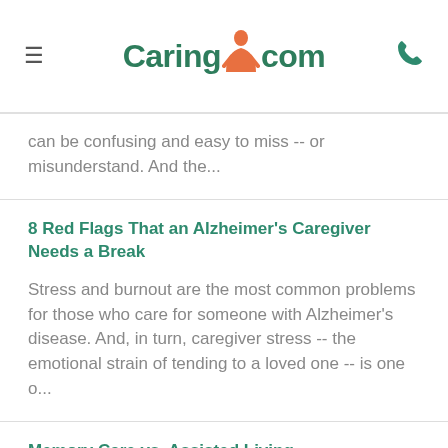Caring.com
can be confusing and easy to miss -- or misunderstand. And the...
8 Red Flags That an Alzheimer's Caregiver Needs a Break
Stress and burnout are the most common problems for those who care for someone with Alzheimer's disease. And, in turn, caregiver stress -- the emotional strain of tending to a loved one -- is one o...
Memory Care vs. Assisted Living
About seven in 10 adults over 65 will require long-term care at some point in their lives, according to the U.S. Department of Health and Human Services. If your parents or other